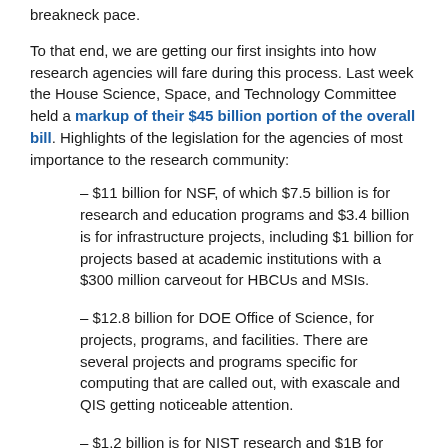breakneck pace.
To that end, we are getting our first insights into how research agencies will fare during this process. Last week the House Science, Space, and Technology Committee held a markup of their $45 billion portion of the overall bill. Highlights of the legislation for the agencies of most importance to the research community:
– $11 billion for NSF, of which $7.5 billion is for research and education programs and $3.4 billion is for infrastructure projects, including $1 billion for projects based at academic institutions with a $300 million carveout for HBCUs and MSIs.
– $12.8 billion for DOE Office of Science, for projects, programs, and facilities. There are several projects and programs specific for computing that are called out, with exascale and QIS getting noticeable attention.
– $1.2 billion is for NIST research and $1B for NIST infrastructure.